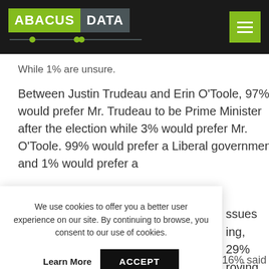ABACUS DATA
While 1% are unsure.
Between Justin Trudeau and Erin O'Toole, 97% would prefer Mr. Trudeau to be Prime Minister after the election while 3% would prefer Mr. O'Toole. 99% would prefer a Liberal government and 1% would prefer a
We use cookies to offer you a better user experience on our site. By continuing to browse, you consent to our use of cookies.
Learn More   ACCEPT
issues ing, 29% roving the ed more affordable. 16% said